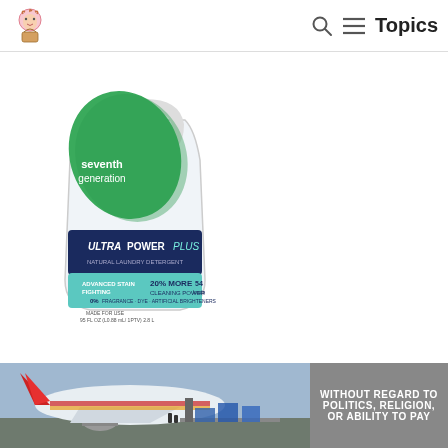seventh generation — Topics
[Figure (photo): Seventh Generation Ultra Power Plus laundry detergent bottle — white jug with dark navy/teal label, green leaf graphic, text: ULTRA POWER PLUS, ADVANCED STAIN FIGHTING, 20% MORE CLEANING POWER, 0%, 54 loads, 95 FL OZ]
Check Price
This is yet another laundry detergent cloth diapers from the Seventh Generation stable and just like the other one, it is plant-based meaning that it is environmentally friendly.
[Figure (photo): Advertisement banner showing cargo airplane being loaded on tarmac, with text WITHOUT REGARD TO POLITICS, RELIGION, OR ABILITY TO PAY on a gray background to the right]